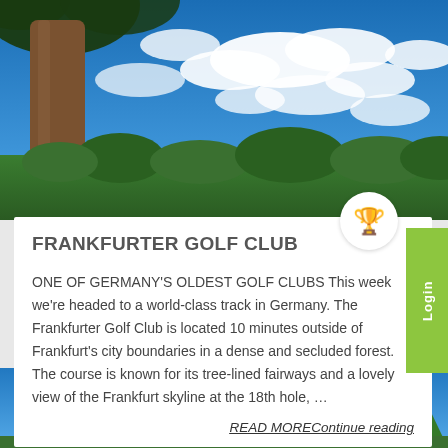[Figure (photo): Golf course scene with a large tree trunk on the left, blue sky with white clouds, and green trees in the background]
FRANKFURTER GOLF CLUB
ONE OF GERMANY'S OLDEST GOLF CLUBS This week we're headed to a world-class track in Germany. The Frankfurter Golf Club is located 10 minutes outside of Frankfurt's city boundaries in a dense and secluded forest. The course is known for its tree-lined fairways and a lovely view of the Frankfurt skyline at the 18th hole, …
READ MOREContinue reading
[Figure (photo): Bottom of page showing a blue sky with white clouds and green pine trees at the bottom right]